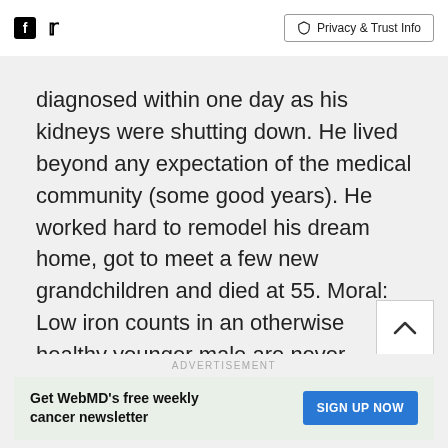Facebook Twitter | Privacy & Trust Info
diagnosed within one day as his kidneys were shutting down. He lived beyond any expectation of the medical community (some good years). He worked hard to remodel his dream home, got to meet a few new grandchildren and died at 55. Moral: Low iron counts in an otherwise healthy younger male are never "normal." Extreme exhaustion in anyone is not always a sign of depression or fatigue. Multiple myeloma can strike any age or demographic; Dad didn't fit any of the stereotypes.
ADVERTISEMENT
Get WebMD's free weekly cancer newsletter SIGN UP NOW